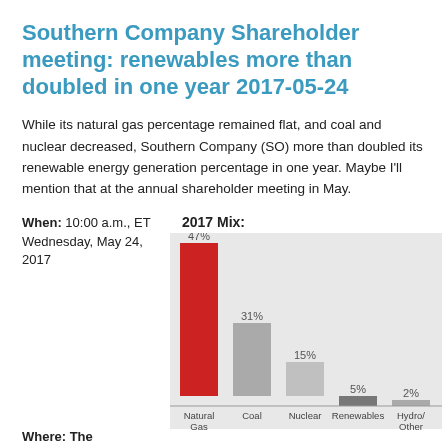Southern Company Shareholder meeting: renewables more than doubled in one year 2017-05-24
While its natural gas percentage remained flat, and coal and nuclear decreased, Southern Company (SO) more than doubled its renewable energy generation percentage in one year. Maybe I'll mention that at the annual shareholder meeting in May.
When: 10:00 a.m., ET Wednesday, May 24, 2017
[Figure (bar-chart): 2017 Mix:]
Where: The